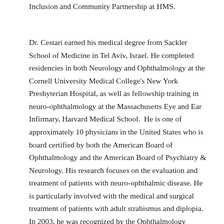Inclusion and Community Partnership at HMS.
Dr. Cestari earned his medical degree from Sackler School of Medicine in Tel Aviv, Israel. He completed residencies in both Neurology and Ophthalmology at the Cornell University Medical College's New York Presbyterian Hospital, as well as fellowship training in neuro-ophthalmology at the Massachusetts Eye and Ear Infirmary, Harvard Medical School.  He is one of approximately 10 physicians in the United States who is board certified by both the American Board of Ophthalmology and the American Board of Psychiatry & Neurology. His research focuses on the evaluation and treatment of patients with neuro-ophthalmic disease. He is particularly involved with the medical and surgical treatment of patients with adult strabismus and diplopia. In 2003, he was recognized by the Ophthalmology Residents at Mass. Eye and Ear with an Outstanding Teaching and Commitment to Education Award.